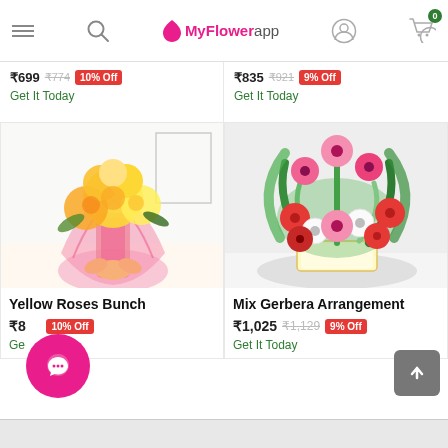MyFlowerapp - hamburger menu, search, logo, account, cart (0)
₹699 ₹774 10% Off - Get It Today
₹835 ₹921 9% Off - Get It Today
[Figure (photo): Yellow Roses Bunch wrapped in pink cellophane with yellow ribbon]
[Figure (photo): Mix Gerbera Arrangement in a rectangular vase with pink, red, white gerberas and green leaves]
Yellow Roses Bunch
₹899 10% Off - Get It Today
Mix Gerbera Arrangement
₹1,025 ₹1,129 9% Off - Get It Today